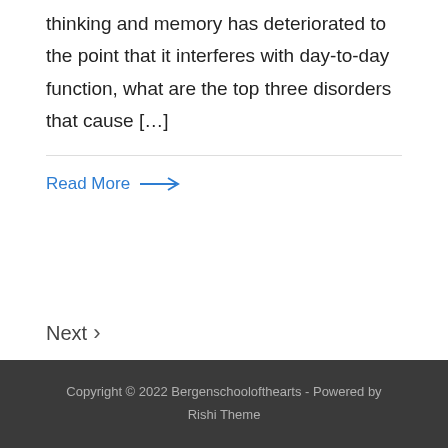thinking and memory has deteriorated to the point that it interferes with day-to-day function, what are the top three disorders that cause […]
Read More →
Next ›
Copyright © 2022 Bergenschoolofthearts - Powered by Rishi Theme